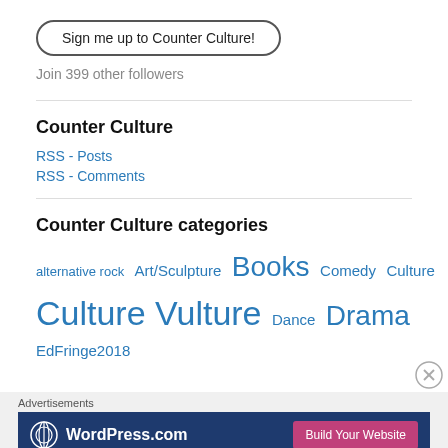Sign me up to Counter Culture!
Join 399 other followers
Counter Culture
RSS - Posts
RSS - Comments
Counter Culture categories
alternative rock  Art/Sculpture  Books  Comedy  Culture  Culture Vulture  Dance  Drama  EdFringe2018
Advertisements
[Figure (screenshot): WordPress.com advertisement banner with blue background, WordPress logo, and 'Build Your Website' pink button]